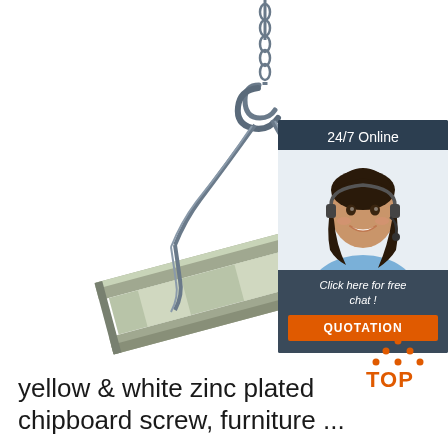[Figure (photo): A steel I-beam suspended from a crane hook with wire rope slings against a white background]
[Figure (infographic): 24/7 Online chat widget with a female customer service representative wearing a headset, and a QUOTATION button in orange]
[Figure (logo): TOP logo with orange dotted triangle above the word TOP in orange]
yellow & white zinc plated chipboard screw, furniture ...